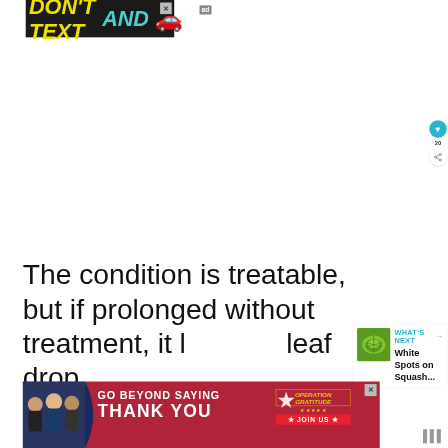[Figure (infographic): NHTSA advertisement banner: black background with 'DON'T TEXT AND' in yellow/cyan bold italic text, red car emoji, ad/NHTSA logo with grid dots, close button (X)]
The condition is treatable, but if prolonged without treatment, it leads to leaf drop.
[Figure (infographic): What's Next widget showing a green squash leaf thumbnail image with label 'WHAT'S NEXT →' in teal and title 'White Spots on Squash...']
[Figure (infographic): Operation Gratitude advertisement banner: dark navy background with 'GO BEYOND SAYING THANK YOU' text, red/white/blue star logo, 'JOIN US' button, close X button]